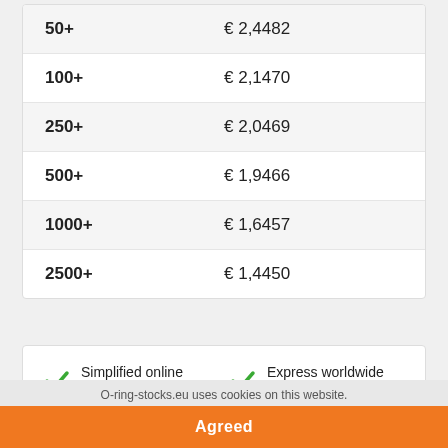| Quantity | Price |
| --- | --- |
| 50+ | € 2,4482 |
| 100+ | € 2,1470 |
| 250+ | € 2,0469 |
| 500+ | € 1,9466 |
| 1000+ | € 1,6457 |
| 2500+ | € 1,4450 |
Simplified online ordering
Large Stock
Express worldwide Delivery
Next day delivery
O-ring-stocks.eu uses cookies on this website.
Agreed